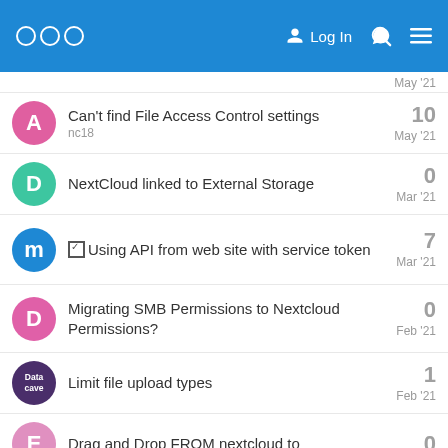Nextcloud Community Forum — Log In
May '21
Can't find File Access Control settings | nc18 | 10 | May '21
NextCloud linked to External Storage | 0 | Mar '21
☑ Using API from web site with service token | 7 | Mar '21
Migrating SMB Permissions to Nextcloud Permissions? | 0 | Feb '21
Limit file upload types | 1 | Feb '21
Drag and Drop FROM nextcloud to | 0